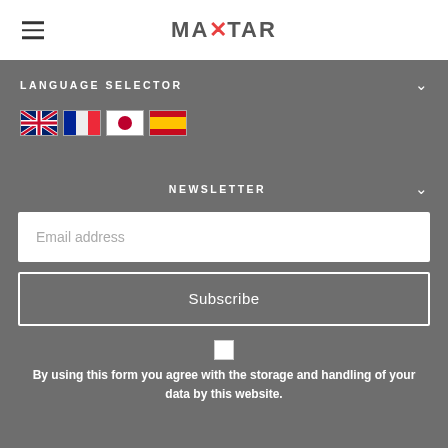[Figure (logo): MAXTAR logo with colorful X and arrow in the header bar]
LANGUAGE SELECTOR
[Figure (illustration): Four country flag icons: UK, France, Japan, Spain]
NEWSLETTER
Email address
Subscribe
By using this form you agree with the storage and handling of your data by this website.